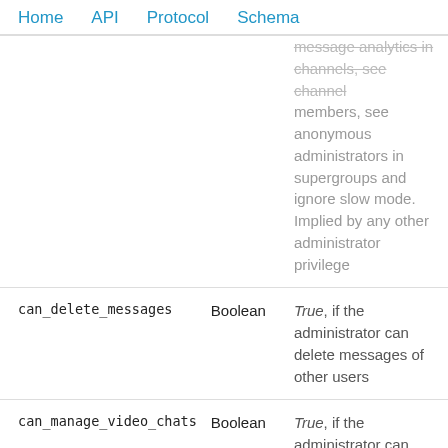Home   API   Protocol   Schema
| Field | Type | Description |
| --- | --- | --- |
|  |  | message analytics in channels, see channel members, see anonymous administrators in supergroups and ignore slow mode. Implied by any other administrator privilege |
| can_delete_messages | Boolean | True, if the administrator can delete messages of other users |
| can_manage_video_chats | Boolean | True, if the administrator can manage video chats |
| can_restrict_members | Boolean | True, if the administrator can restrict, ban or unban chat members |
| can_promote_members | Boolean | True, if the administrator can add new |